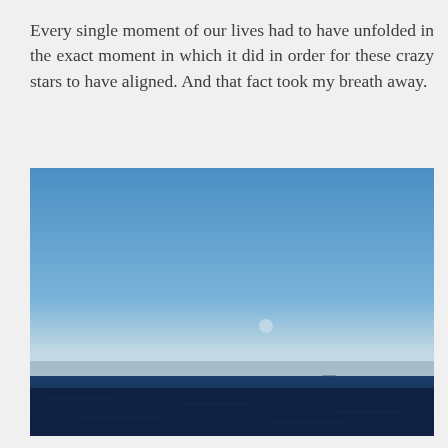Every single moment of our lives had to have unfolded in the exact moment in which it did in order for these crazy stars to have aligned. And that fact took my breath away.
[Figure (photo): Seascape photograph showing a wide expanse of deep blue ocean under a clear blue sky with a faint horizon line and a small faint moon visible in the sky]